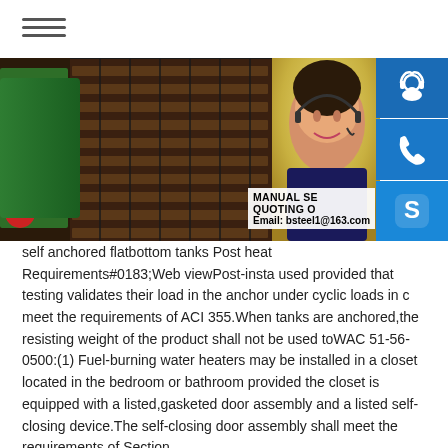[Figure (photo): Industrial machinery with rollers and metal grating on the left; woman with headset on the right with blue icon panels for customer service, phone, and Skype]
MANUAL SE QUOTING O Email: bsteel1@163.com
self anchored flatbottom tanks Post heat Requirements#0183;Web viewPost-insta used provided that testing validates their load in the anchor under cyclic loads in c meet the requirements of ACI 355.When tanks are anchored,the resisting weight of the product shall not be used toWAC 51-56-0500:(1) Fuel-burning water heaters may be installed in a closet located in the bedroom or bathroom provided the closet is equipped with a listed,gasketed door assembly and a listed self-closing device.The self-closing door assembly shall meet the requirements of Section